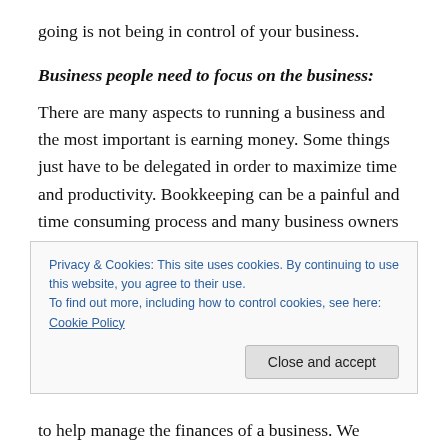going is not being in control of your business.
Business people need to focus on the business:
There are many aspects to running a business and the most important is earning money. Some things just have to be delegated in order to maximize time and productivity. Bookkeeping can be a painful and time consuming process and many business owners do not have the expertise or knowledge to get the job done right. Time spent on bookkeeping activities is time away from making money.
Privacy & Cookies: This site uses cookies. By continuing to use this website, you agree to their use.
To find out more, including how to control cookies, see here: Cookie Policy
to help manage the finances of a business. We...